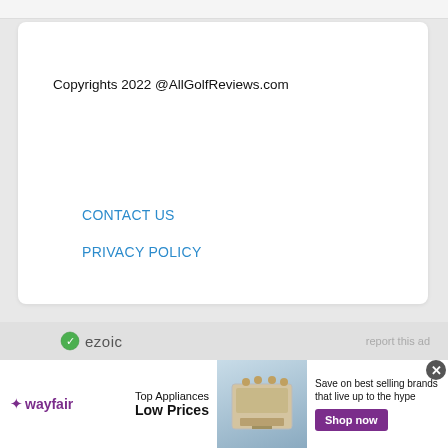Copyrights 2022 @AllGolfReviews.com
CONTACT US
PRIVACY POLICY
[Figure (other): Ezoic logo bar with 'ezoic' text and 'report this ad' link on the right]
[Figure (other): Wayfair advertisement banner: Top Appliances Low Prices, image of a stove, Save on best selling brands that live up to the hype, Shop now button]